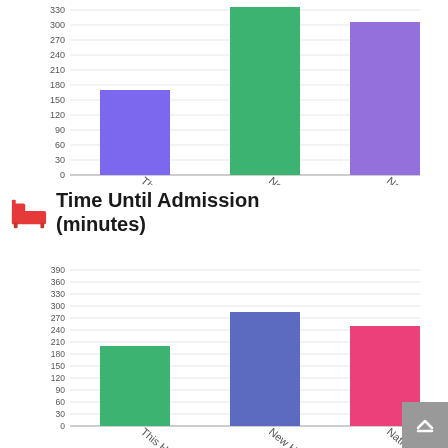[Figure (bar-chart): Top chart (partial)]
Time Until Admission (minutes)
[Figure (bar-chart): Time Until Admission (minutes)]